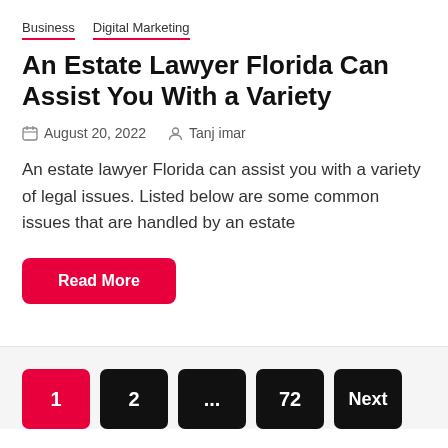Business  Digital Marketing
An Estate Lawyer Florida Can Assist You With a Variety
August 20, 2022  Tanj imar
An estate lawyer Florida can assist you with a variety of legal issues. Listed below are some common issues that are handled by an estate
Read More
1  2  ...  72  Next